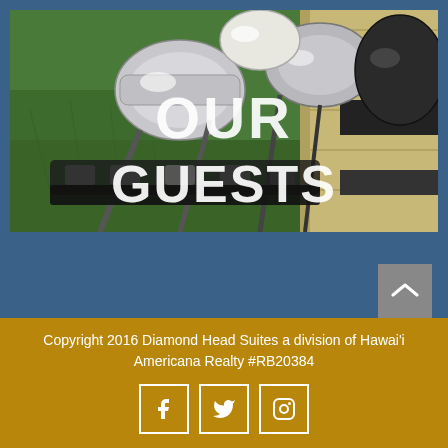[Figure (photo): Close-up photo of golf club heads in a golf bag, with green grass in the background. Text overlay reads 'OUR GUESTS' in large white bold letters.]
Copyright 2016 Diamond Head Suites a division of Hawai'i Americana Realty #RB20384
[Figure (infographic): Three social media icon boxes: Facebook (f), Twitter (bird), Instagram (camera)]